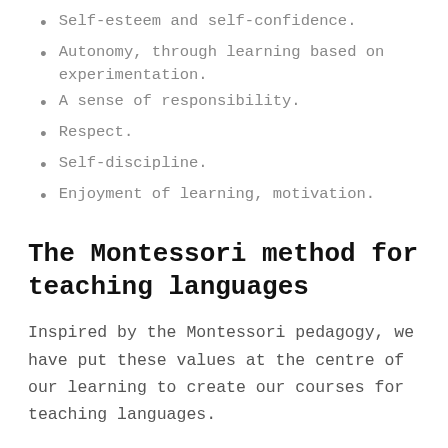Self-esteem and self-confidence.
Autonomy, through learning based on experimentation.
A sense of responsibility.
Respect.
Self-discipline.
Enjoyment of learning, motivation.
The Montessori method for teaching languages
Inspired by the Montessori pedagogy, we have put these values at the centre of our learning to create our courses for teaching languages.
In our distance learning courses, you will find fun and adapted tools to set up Montessori workshops with which the child will acquire